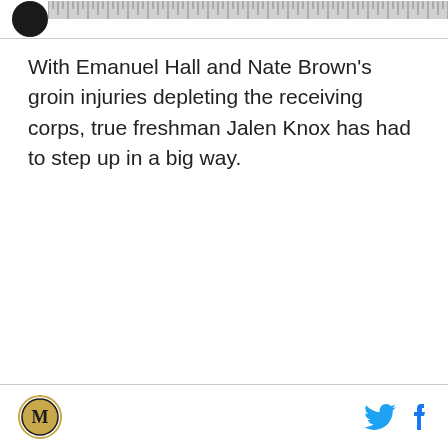[Logo and ruler bar]
With Emanuel Hall and Nate Brown's groin injuries depleting the receiving corps, true freshman Jalen Knox has had to step up in a big way.
[Site logo, Twitter icon, Facebook icon]